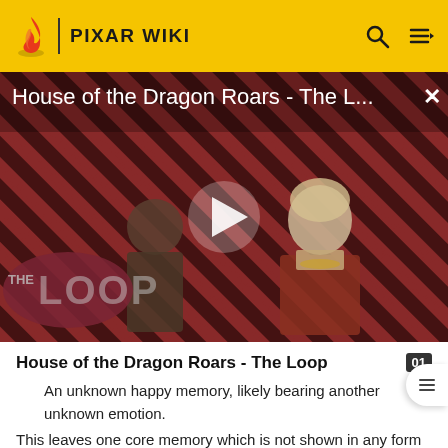PIXAR WIKI
[Figure (screenshot): Video thumbnail for 'House of the Dragon Roars - The Loop' showing two characters on a striped red/black background with a play button overlay and 'THE LOOP' logo in the lower left. A close (X) button is in the upper right.]
House of the Dragon Roars - The Loop
An unknown happy memory, likely bearing another unknown emotion.
This leaves one core memory which is not shown in any form in the film.